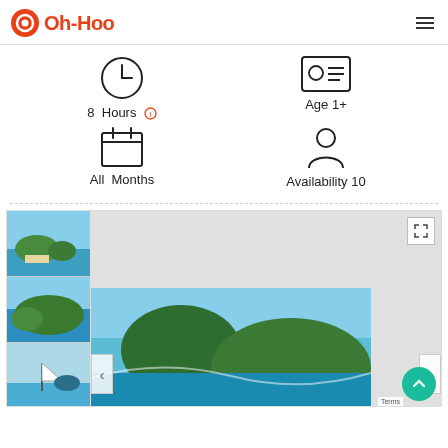[Figure (logo): Oh-Hoo logo with circular icon and orange text]
[Figure (infographic): Four info cells: clock icon with '8 Hours', ID card icon with 'Age 1+', calendar icon with 'All Months', person icon with 'Availability 10']
[Figure (photo): Gallery section with thumbnails of tropical island scenes on the left, and main image area showing blue sky and tropical island]